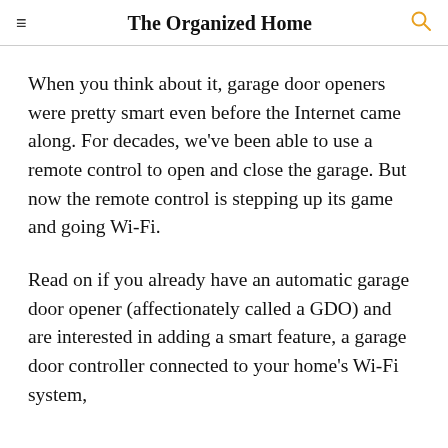The Organized Home
When you think about it, garage door openers were pretty smart even before the Internet came along. For decades, we've been able to use a remote control to open and close the garage. But now the remote control is stepping up its game and going Wi-Fi.
Read on if you already have an automatic garage door opener (affectionately called a GDO) and are interested in adding a smart feature, a garage door controller connected to your home's Wi-Fi system,